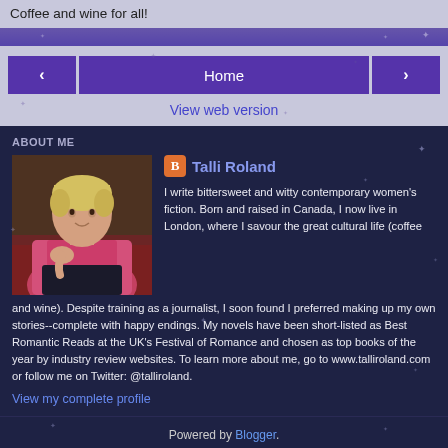Coffee and wine for all!
Home
View web version
ABOUT ME
[Figure (photo): Portrait photo of Talli Roland, a woman with short blonde hair wearing a pink jacket, seated and posing in a warm-lit setting.]
Talli Roland
I write bittersweet and witty contemporary women's fiction. Born and raised in Canada, I now live in London, where I savour the great cultural life (coffee and wine). Despite training as a journalist, I soon found I preferred making up my own stories--complete with happy endings. My novels have been short-listed as Best Romantic Reads at the UK's Festival of Romance and chosen as top books of the year by industry review websites. To learn more about me, go to www.talliroland.com or follow me on Twitter: @talliroland.
View my complete profile
Powered by Blogger.